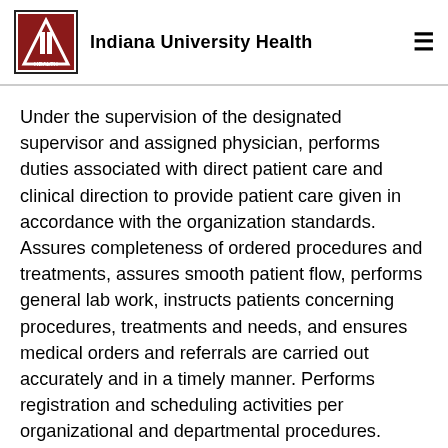Indiana University Health
Under the supervision of the designated supervisor and assigned physician, performs duties associated with direct patient care and clinical direction to provide patient care given in accordance with the organization standards. Assures completeness of ordered procedures and treatments, assures smooth patient flow, performs general lab work, instructs patients concerning procedures, treatments and needs, and ensures medical orders and referrals are carried out accurately and in a timely manner. Performs registration and scheduling activities per organizational and departmental procedures. Maintains EMR files and performs general front office functions as needed. May perform computerized physician order entry, only if directed by assigned physician. Expected to precept